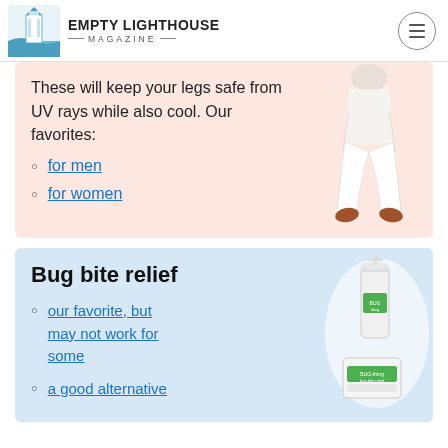EMPTY LIGHTHOUSE MAGAZINE
These will keep your legs safe from UV rays while also cool. Our favorites:
for men
for women
[Figure (photo): White flowing pants worn by a person, showing legs]
Bug bite relief
our favorite, but may not work for some
a good alternative
[Figure (photo): Bug bite relief product - white cylindrical device and packaging]